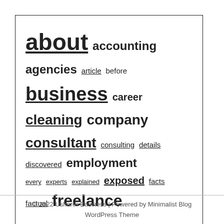[Figure (other): Tag cloud containing words of varying sizes representing website topics: about, accounting, agencies, article, before, business, career, cleaning, company, consultant, consulting, details, discovered, employment, every, experts, explained, exposed, facts, factual, freelance, greatest, guide, harer, learn, management, nothing, payroll, people, questions, report, revealed, reveals, secret, service, should, statements, strategies, talking, techniques, today, truth, unanswered, understand, unveiled]
© 2022 Usharer Business | Powered by Minimalist Blog WordPress Theme